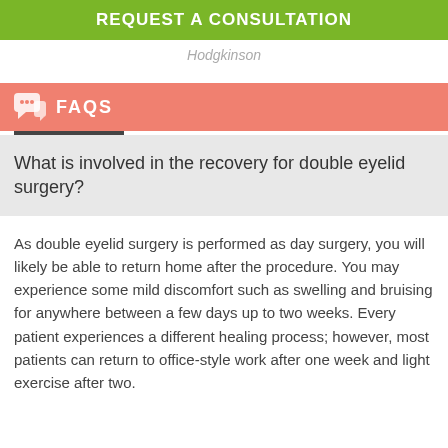REQUEST A CONSULTATION
Hodgkinson
FAQS
What is involved in the recovery for double eyelid surgery?
As double eyelid surgery is performed as day surgery, you will likely be able to return home after the procedure. You may experience some mild discomfort such as swelling and bruising for anywhere between a few days up to two weeks. Every patient experiences a different healing process; however, most patients can return to office-style work after one week and light exercise after two.